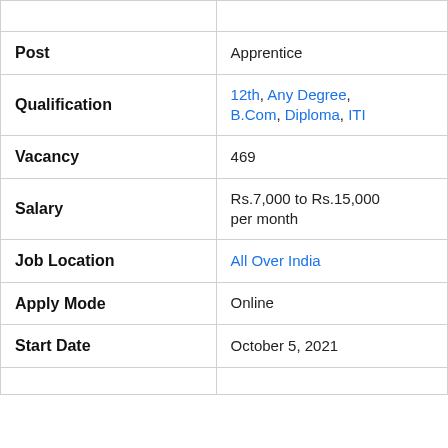| Field | Value |
| --- | --- |
| Post | Apprentice |
| Qualification | 12th, Any Degree, B.Com, Diploma, ITI |
| Vacancy | 469 |
| Salary | Rs.7,000 to Rs.15,000 per month |
| Job Location | All Over India |
| Apply Mode | Online |
| Start Date | October 5, 2021 |